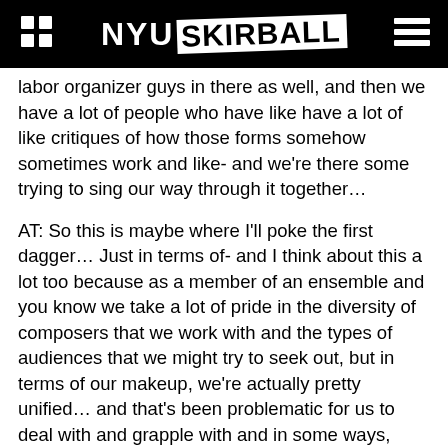NYU SKIRBALL
labor organizer guys in there as well, and then we have a lot of people who have like have a lot of like critiques of how those forms somehow sometimes work and like- and we're there some trying to sing our way through it together…
AT: So this is maybe where I'll poke the first dagger… Just in terms of- and I think about this a lot too because as a member of an ensemble and you know we take a lot of pride in the diversity of composers that we work with and the types of audiences that we might try to seek out, but in terms of our makeup, we're actually pretty unified… and that's been problematic for us to deal with and grapple with and in some ways, your endeavor has a little bit of an opposite problem- which is that the makeup of the ensemble has the diversity, has the struggles, has the different approaches to maybe a common desire for change? And yet, and I wonder how you- how do you feel about this and how you grapple with this- when we log on to the Skirball website and it's your name that